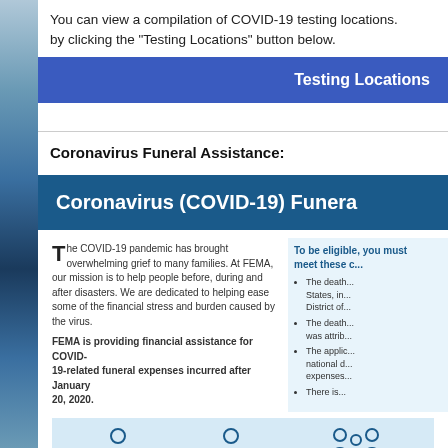You can view a compilation of COVID-19 testing locations. by clicking the "Testing Locations" button below.
Testing Locations
Coronavirus Funeral Assistance:
Coronavirus (COVID-19) Funer...
The COVID-19 pandemic has brought overwhelming grief to many families. At FEMA, our mission is to help people before, during and after disasters. We are dedicated to helping ease some of the financial stress and burden caused by the virus.
FEMA is providing financial assistance for COVID-19-related funeral expenses incurred after January 20, 2020.
To be eligible, you must meet these c...
• The death...
  States, in...
  District of...
• The death...
  was attrib...
• The applic...
  national d...
  expenses...
• There is...